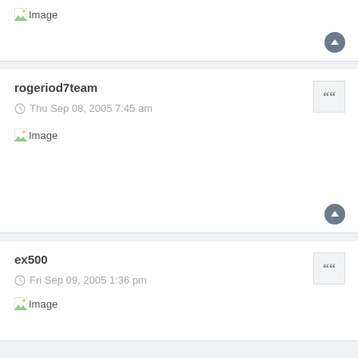[Figure (screenshot): Partial top forum post showing broken image placeholder with text 'Image' and an up arrow button]
rogeriod7team
Thu Sep 08, 2005 7:45 am
[Figure (screenshot): Forum post body with broken image placeholder labeled 'Image']
ex500
Fri Sep 09, 2005 1:36 pm
[Figure (screenshot): Partial bottom forum post showing broken image placeholder with text 'Image']